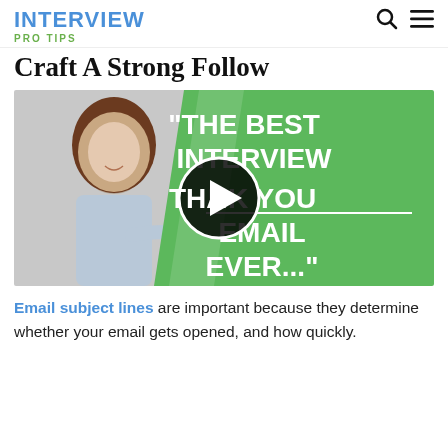INTERVIEW PRO TIPS
Craft A Strong Follow
[Figure (screenshot): Video thumbnail with a woman pointing at text on a green background reading: "THE BEST INTERVIEW THANK YOU EMAIL EVER..." with a play button overlay.]
Email subject lines are important because they determine whether your email gets opened, and how quickly.